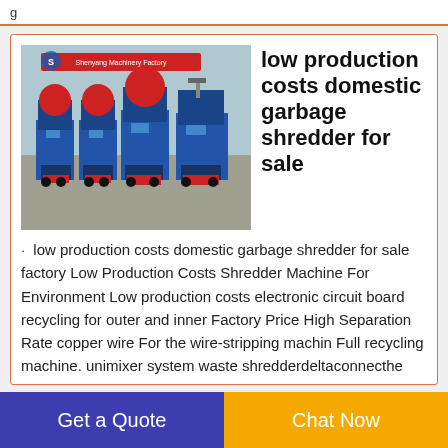g
[Figure (photo): Blue industrial wire stripping/shredding machines with red components lined up in a factory setting, with a Shenyang Machinery Factory banner visible]
low production costs domestic garbage shredder for sale
low production costs domestic garbage shredder for sale factory Low Production Costs Shredder Machine For Environment Low production costs electronic circuit board recycling for outer and inner Factory Price High Separation Rate copper wire For the wire-stripping machin Full recycling machine. unimixer system waste shredderdeltaconnecthe